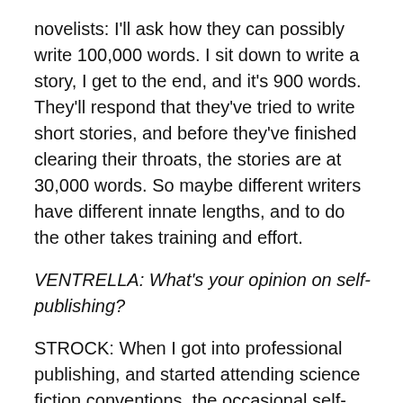novelists: I'll ask how they can possibly write 100,000 words. I sit down to write a story, I get to the end, and it's 900 words. They'll respond that they've tried to write short stories, and before they've finished clearing their throats, the stories are at 30,000 words. So maybe different writers have different innate lengths, and to do the other takes training and effort.
VENTRELLA: What's your opinion on self-publishing?
STROCK: When I got into professional publishing, and started attending science fiction conventions, the occasional self-published author in a dealers' room was usually avoided. People would look askance at an author sitting behind a table of books he himself had written and published. But now that I run a publishing house, when I'm at conventions with the books I've published, most people